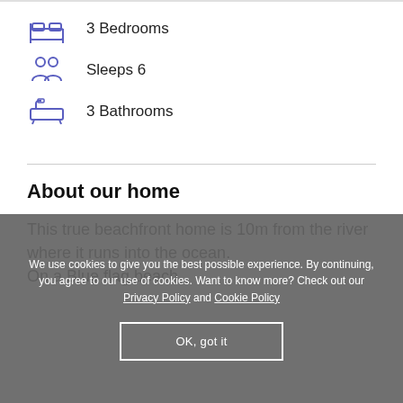3 Bedrooms
Sleeps 6
3 Bathrooms
About our home
This true beachfront home is 10m from the river where it runs into the ocean.
On a Blue flag beach.
We use cookies to give you the best possible experience. By continuing, you agree to our use of cookies. Want to know more? Check out our Privacy Policy and Cookie Policy
OK, got it